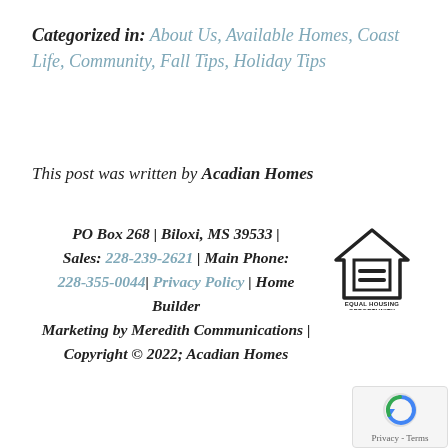Categorized in: About Us, Available Homes, Coast Life, Community, Fall Tips, Holiday Tips
This post was written by Acadian Homes
PO Box 268 | Biloxi, MS 39533 | Sales: 228-239-2621 | Main Phone: 228-355-0044| Privacy Policy | Home Builder Marketing by Meredith Communications | Copyright © 2022; Acadian Homes
[Figure (logo): Equal Housing Opportunity logo — house outline with an equals sign inside, text reads EQUAL HOUSING OPPORTUNITY]
[Figure (logo): reCAPTCHA badge with circular arrow logo and Privacy - Terms text]